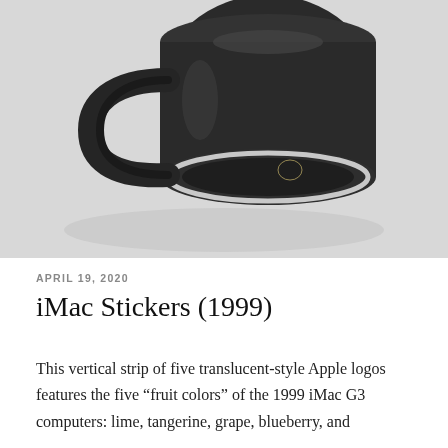[Figure (photo): Close-up photo of a black mug or cylindrical object tilted upside-down showing its base with a silver rim ring, handle visible on the left side, on a light gray background]
APRIL 19, 2020
iMac Stickers (1999)
This vertical strip of five translucent-style Apple logos features the five “fruit colors” of the 1999 iMac G3 computers: lime, tangerine, grape, blueberry, and